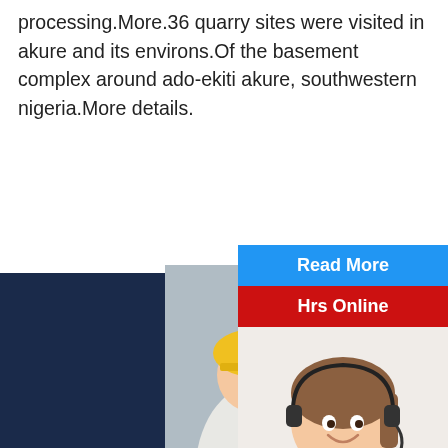processing.More.36 quarry sites were visited in akure and its environs.Of the basement complex around ado-ekiti akure, southwestern nigeria.More details.
<< Previous:
>> Next:Buy
[Figure (screenshot): Live chat popup overlay showing workers in hard hats, LIVE CHAT text in red, Click for a Free Consultation subtitle, Chat now (red) and Chat later (dark) buttons, and a close button.]
[Figure (screenshot): Right side panel showing Read More (blue bar), Hrs Online (red bar), woman with headset, Need questions & suggestion? text, Chat Now red oval button, and partial Enquire text.]
QUALITY SERVIC
[Figure (illustration): Blue circle icon (person silhouette) at bottom of dark navy footer bar.]